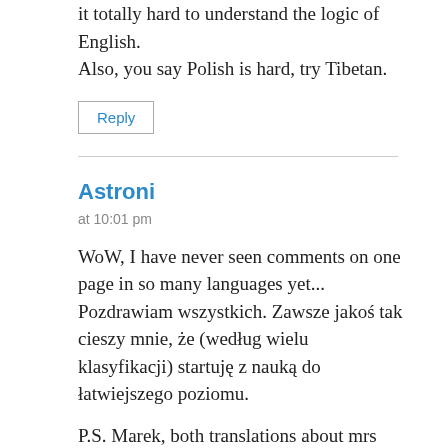it totally hard to understand the logic of English.
Also, you say Polish is hard, try Tibetan.
Reply
Astroni
at 10:01 pm
WoW, I have never seen comments on one page in so many languages yet...
Pozdrawiam wszystkich. Zawsze jakoś tak cieszy mnie, że (według wielu klasyfikacji) startuję z nauką do łatwiejszego poziomu.
P.S. Marek, both translations about mrs Merkel